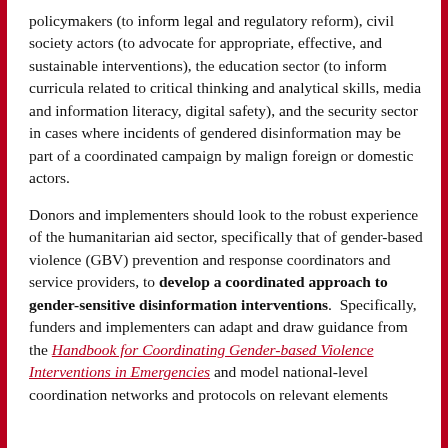policymakers (to inform legal and regulatory reform), civil society actors (to advocate for appropriate, effective, and sustainable interventions), the education sector (to inform curricula related to critical thinking and analytical skills, media and information literacy, digital safety), and the security sector in cases where incidents of gendered disinformation may be part of a coordinated campaign by malign foreign or domestic actors.
Donors and implementers should look to the robust experience of the humanitarian aid sector, specifically that of gender-based violence (GBV) prevention and response coordinators and service providers, to develop a coordinated approach to gender-sensitive disinformation interventions. Specifically, funders and implementers can adapt and draw guidance from the Handbook for Coordinating Gender-based Violence Interventions in Emergencies and model national-level coordination networks and protocols on relevant elements